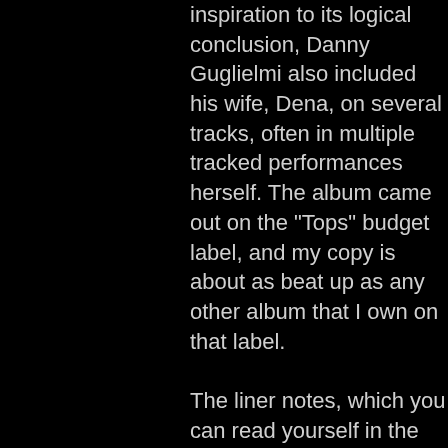inspiration to its logical conclusion, Danny Guglielmi also included his wife, Dena, on several tracks, often in multiple tracked performances herself. The album came out on the "Tops" budget label, and my copy is about as beat up as any other album that I own on that label.

The liner notes, which you can read yourself in the link below, are a masterwork of